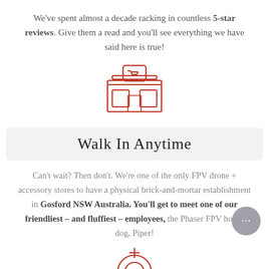We've spent almost a decade racking in countless 5-star reviews. Give them a read and you'll see everything we have said here is true!
[Figure (illustration): Red line-art icon of a storefront/shop with a shopping cart sign on top, two windows on bottom, and horizontal shelf lines]
Walk In Anytime
Can't wait? Then don't. We're one of the only FPV drone + accessory stores to have a physical brick-and-mortar establishment in Gosford NSW Australia. You'll get to meet one of our friendliest – and fluffiest – employees, the Phaser FPV house dog, Piper!
[Figure (illustration): Red line-art icon of a target/crosshair circle with a vertical antenna on top, partially visible at the bottom of the page]